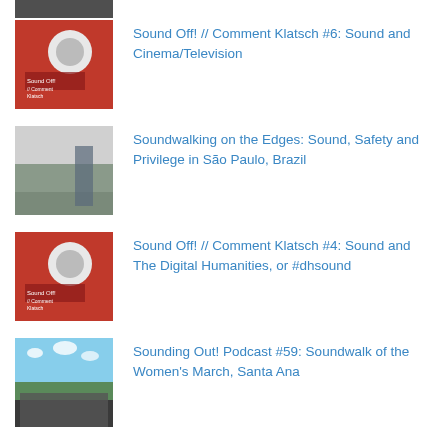[Figure (photo): Partial thumbnail image at top of page, cropped]
Sound Off! // Comment Klatsch #6: Sound and Cinema/Television
Soundwalking on the Edges: Sound, Safety and Privilege in São Paulo, Brazil
Sound Off! // Comment Klatsch #4: Sound and The Digital Humanities, or #dhsound
Sounding Out! Podcast #59: Soundwalk of the Women's March, Santa Ana